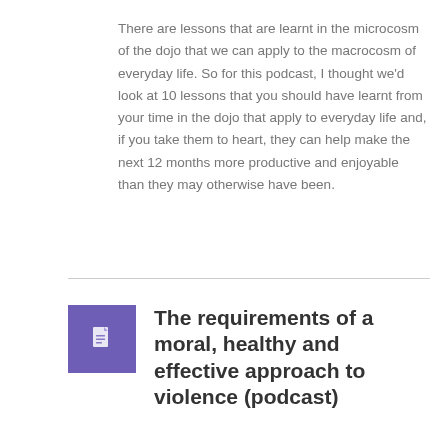There are lessons that are learnt in the microcosm of the dojo that we can apply to the macrocosm of everyday life. So for this podcast, I thought we'd look at 10 lessons that you should have learnt from your time in the dojo that apply to everyday life and, if you take them to heart, they can help make the next 12 months more productive and enjoyable than they may otherwise have been.
Continue Reading→
[Figure (illustration): Purple square icon with a document/file symbol in white]
The requirements of a moral, healthy and effective approach to violence (podcast)